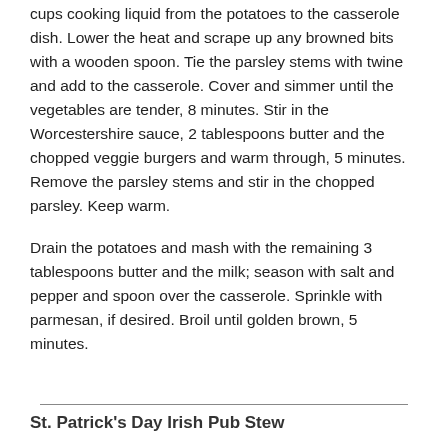cups cooking liquid from the potatoes to the casserole dish. Lower the heat and scrape up any browned bits with a wooden spoon. Tie the parsley stems with twine and add to the casserole. Cover and simmer until the vegetables are tender, 8 minutes. Stir in the Worcestershire sauce, 2 tablespoons butter and the chopped veggie burgers and warm through, 5 minutes. Remove the parsley stems and stir in the chopped parsley. Keep warm.
Drain the potatoes and mash with the remaining 3 tablespoons butter and the milk; season with salt and pepper and spoon over the casserole. Sprinkle with parmesan, if desired. Broil until golden brown, 5 minutes.
St. Patrick's Day Irish Pub Stew